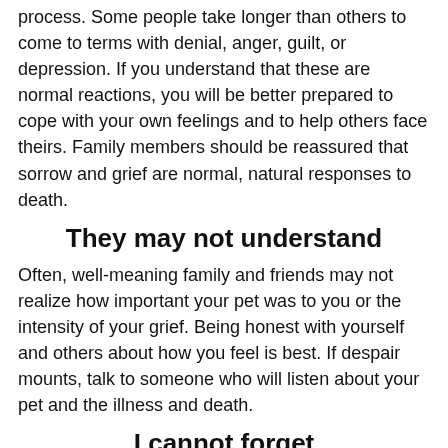process. Some people take longer than others to come to terms with denial, anger, guilt, or depression. If you understand that these are normal reactions, you will be better prepared to cope with your own feelings and to help others face theirs. Family members should be reassured that sorrow and grief are normal, natural responses to death.
They may not understand
Often, well-meaning family and friends may not realize how important your pet was to you or the intensity of your grief. Being honest with yourself and others about how you feel is best. If despair mounts, talk to someone who will listen about your pet and the illness and death.
I cannot forget
If you or a family member has great difficulty in accepting your pet's death and cannot resolve feelings of grief and sorrow, you may want to discuss those